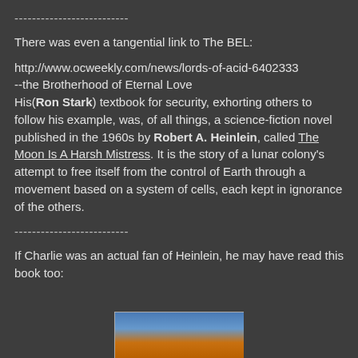--------------------------
There was even a tangential link to The BEL:
http://www.ocweekly.com/news/lords-of-acid-6402333
--the Brotherhood of Eternal Love
His(Ron Stark) textbook for security, exhorting others to follow his example, was, of all things, a science-fiction novel published in the 1960s by Robert A. Heinlein, called The Moon Is A Harsh Mistress. It is the story of a lunar colony's attempt to free itself from the control of Earth through a movement based on a system of cells, each kept in ignorance of the others.
--------------------------
If Charlie was an actual fan of Heinlein, he may have read this book too:
[Figure (photo): Partial view of a book cover, showing colorful text on a blue background, partially cropped at the bottom of the page.]